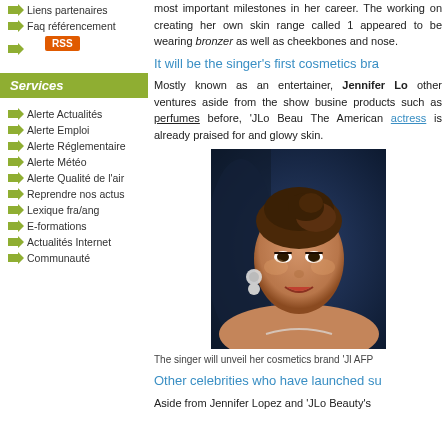Liens partenaires
Faq référencement
RSS
Services
Alerte Actualités
Alerte Emploi
Alerte Réglementaire
Alerte Météo
Alerte Qualité de l'air
Reprendre nos actus
Lexique fra/ang
E-formations
Actualités Internet
Communauté
most important milestones in her career. The working on creating her own skin range called 1 appeared to be wearing bronzer as well as cheekbones and nose.
It will be the singer's first cosmetics bra
Mostly known as an entertainer, Jennifer Lo other ventures aside from the show busine products such as perfumes before, 'JLo Beau The American actress is already praised for and glowy skin.
[Figure (photo): Photo of Jennifer Lopez at an event, wearing diamond earrings and necklace, hair up, smiling, against a dark blue background]
The singer will unveil her cosmetics brand 'JL AFP
Other celebrities who have launched su
Aside from Jennifer Lopez and 'JLo Beauty's